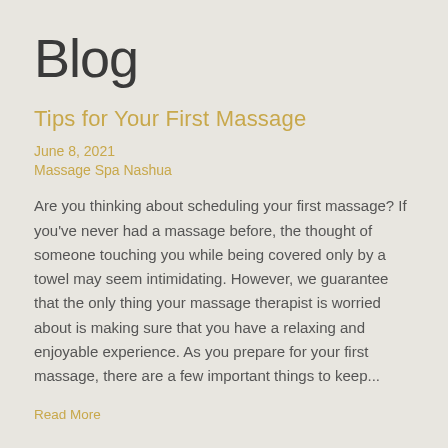Blog
Tips for Your First Massage
June 8, 2021
Massage Spa Nashua
Are you thinking about scheduling your first massage? If you've never had a massage before, the thought of someone touching you while being covered only by a towel may seem intimidating. However, we guarantee that the only thing your massage therapist is worried about is making sure that you have a relaxing and enjoyable experience. As you prepare for your first massage, there are a few important things to keep...
Read More